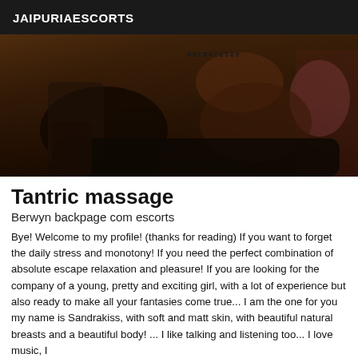JAIPURIAESCORTS
[Figure (photo): Dark-toned photograph showing a person in a dimly lit room, with a phone number watermark rotated 180 degrees in the upper right area reading '4813708380']
Tantric massage
Berwyn backpage com escorts
Bye! Welcome to my profile! (thanks for reading) If you want to forget the daily stress and monotony! If you need the perfect combination of absolute escape relaxation and pleasure! If you are looking for the company of a young, pretty and exciting girl, with a lot of experience but also ready to make all your fantasies come true... I am the one for you my name is Sandrakiss, with soft and matt skin, with beautiful natural breasts and a beautiful body! ... I like talking and listening too... I love music, I